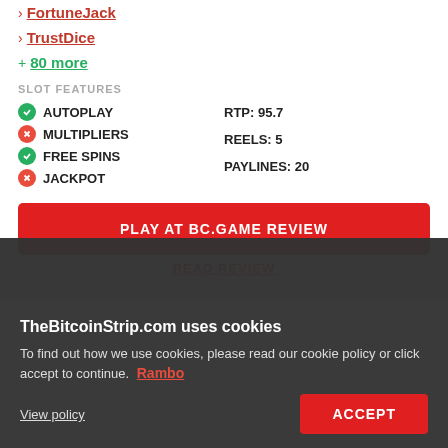FortuneJack
TrustDice
+ 80 more
SLOT FEATURES
AUTOPLAY
MULTIPLIERS
FREE SPINS
JACKPOT
RTP: 95.7
REELS: 5
PAYLINES: 20
PLAY AT BC.GAME REVIEW
READ REVIEW
TheBitcoinStrip.com uses cookies
To find out how we use cookies, please read our cookie policy or click accept to continue.
Rambo
View policy
ACCEPT